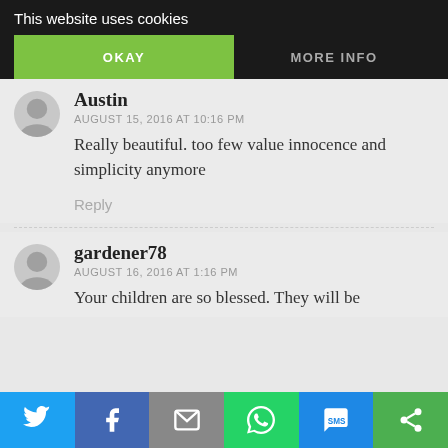This website uses cookies
OKAY
MORE INFO
Austin
AUGUST 15, 2016 AT 10:16 PM
Really beautiful. too few value innocence and simplicity anymore
Reply
gardener78
AUGUST 16, 2016 AT 1:16 PM
Your children are so blessed. They will be
[Figure (infographic): Social share bar with Twitter, Facebook, Email, WhatsApp, SMS, and other sharing icons]